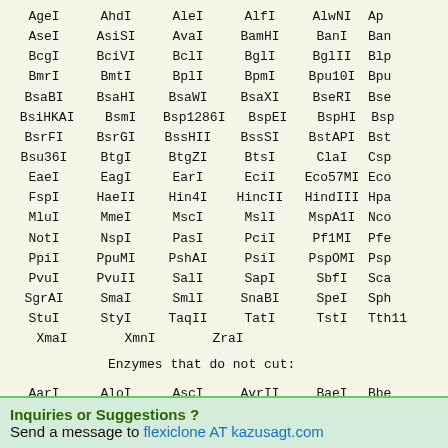AgeI  AhdI  AleI  AlfI  AlwNI  ApI
AseI  AsiSI  AvaI  BamHI  BanI  BanI
BcgI  BciVI  BclI  BglI  BglII  Blp
BmrI  BmtI  BplI  BpmI  Bpu10I  BpuI
BsaBI  BsaHI  BsaWI  BsaXI  BseRI  BseY
BsiHKAI  BsmI  Bsp1286I  BspEI  BspHI  BspI
BsrFI  BsrGI  BssHII  BssSI  BstAPI  BstI
Bsu36I  BtgI  BtgZI  BtsI  ClaI  Csp
EaeI  EagI  EarI  EciI  Eco57MI  EcoI
FspI  HaeII  Hin4I  HincII  HindIII  HpaI
MluI  MmeI  MscI  MslI  MspA1I  NcoI
NotI  NspI  PasI  PciI  Pf1MI  PfeI
PpiI  PpuMI  PshAI  PsiI  PspOMI  PspI
PvuI  PvuII  SalI  SapI  SbfI  ScaI
SgrAI  SmaI  SmlI  SnaBI  SpeI  SphI
StuI  StyI  TaqII  TatI  TstI  Tth111
XmaI  XmnI  ZraI
Enzymes that do not cut:
AarI  AloI  AscI  AvrII  BaeI  BbeI
BsmBI  BstXI  BstZ17I  DraIII  EcoICRI  EcoI
FspAI  KasI  NaeI  NarI  NgoMIV  NrI
RsrII  SacI  SacII  SanDI  SexAI  SfI
XcmI
Inquiries or Suggestions ?
Send a message to flexiclone AT kazusagt.com